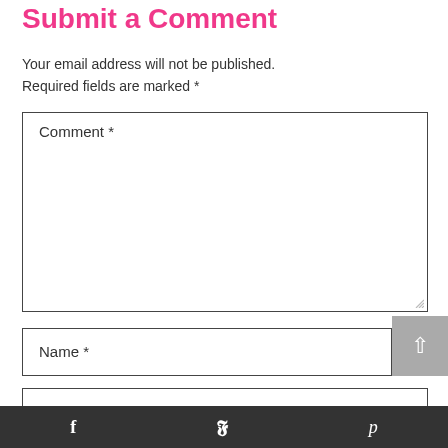Submit a Comment
Your email address will not be published.
Required fields are marked *
Comment *
Name *
Email *
f  y  p